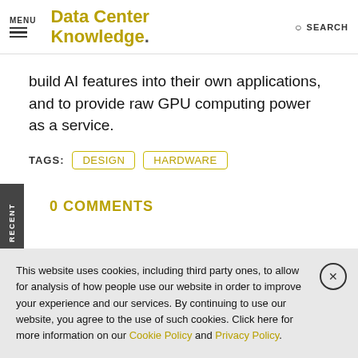MENU | DataCenter Knowledge. | SEARCH
build AI features into their own applications, and to provide raw GPU computing power as a service.
TAGS: DESIGN HARDWARE
0 COMMENTS
This website uses cookies, including third party ones, to allow for analysis of how people use our website in order to improve your experience and our services. By continuing to use our website, you agree to the use of such cookies. Click here for more information on our Cookie Policy and Privacy Policy.